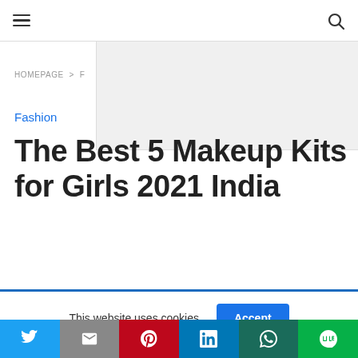Navigation bar with hamburger menu and search icon
[Figure (other): Advertisement/placeholder gray area in top right]
HOMEPAGE > F
Fashion
The Best 5 Makeup Kits for Girls 2021 India
This website uses cookies. Accept
Social share bar: Twitter, Gmail, Pinterest, LinkedIn, WhatsApp, Line